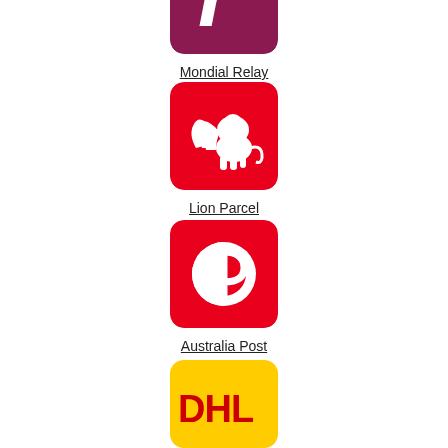[Figure (logo): Mondial Relay logo - dark maroon/crimson background with white stylized 'r' letter icon, rounded corners]
Mondial Relay
[Figure (logo): Lion Parcel logo - red background with white winged lion icon, rounded corners]
Lion Parcel
[Figure (logo): Australia Post logo - red background with white circular arrow/P symbol icon, rounded corners]
Australia Post
[Figure (logo): DHL logo - yellow background with red DHL lettering, rounded corners (partially visible)]